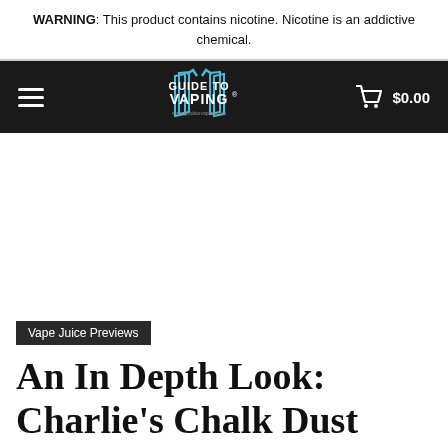WARNING: This product contains nicotine. Nicotine is an addictive chemical.
[Figure (logo): Guide to Vaping logo on black navigation bar with hamburger menu and shopping cart showing $0.00]
Vape Juice Previews
An In Depth Look: Charlie's Chalk Dust